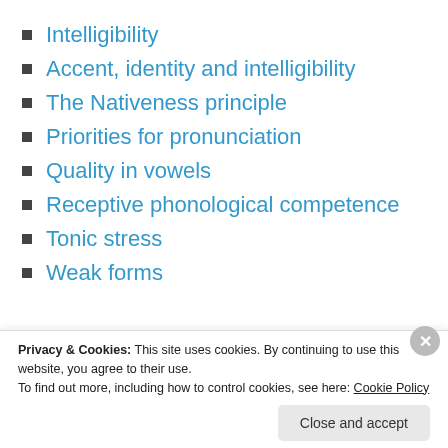Intelligibility
Accent, identity and intelligibility
The Nativeness principle
Priorities for pronunciation
Quality in vowels
Receptive phonological competence
Tonic stress
Weak forms
[Figure (photo): Blue banner with a photo thumbnail showing poles/street scene and the label '05', followed by a wide blue bar]
Privacy & Cookies: This site uses cookies. By continuing to use this website, you agree to their use. To find out more, including how to control cookies, see here: Cookie Policy
Close and accept